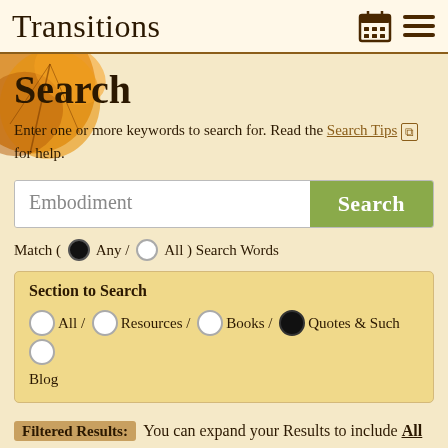Transitions
Search
Enter one or more keywords to search for. Read the Search Tips for help.
Embodiment [search input] Search [button]
Match ( ● Any / ○ All ) Search Words
Section to Search
○ All / ○ Resources / ○ Books / ● Quotes & Such ○ Blog
Filtered Results: You can expand your Results to include All Sections.
Search Results For: Embodiment in Section: Quotes & Such...